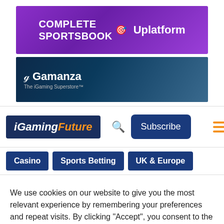[Figure (illustration): Purple advertisement banner for Uplatform reading COMPLETE SPORTSBOOK with Uplatform logo]
[Figure (illustration): Dark blue Gamanza advertisement banner with logo and tagline The iGaming Superstore]
[Figure (screenshot): iGamingFuture website navigation bar with logo, search icon, Subscribe button, and hamburger menu]
Casino   Sports Betting   UK & Europe
We use cookies on our website to give you the most relevant experience by remembering your preferences and repeat visits. By clicking "Accept", you consent to the use of ALL the cookies. Read More
ACCEPT   REJECT